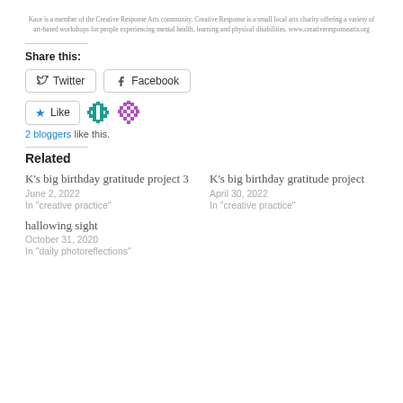Kace is a member of the Creative Response Arts community. Creative Response is a small local arts charity offering a variety of art-based workshops for people experiencing mental health, learning and physical disabilities. www.creativeresponsearts.org
Share this:
[Figure (other): Twitter and Facebook share buttons, Like button with two blogger avatars]
2 bloggers like this.
Related
K's big birthday gratitude project 3
June 2, 2022
In "creative practice"
K's big birthday gratitude project
April 30, 2022
In "creative practice"
hallowing sight
October 31, 2020
In "daily photoreflections"